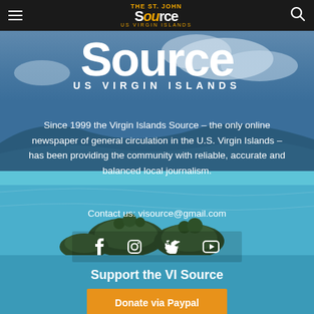The St. John Source - US VIRGIN ISLANDS
[Figure (screenshot): Website screenshot of The St. John Source newspaper with scenic tropical island background showing turquoise water, islands, and sky]
Source US VIRGIN ISLANDS
Since 1999 the Virgin Islands Source – the only online newspaper of general circulation in the U.S. Virgin Islands – has been providing the community with reliable, accurate and balanced local journalism.
Contact us: visource@gmail.com
Support the VI Source
Donate via Paypal